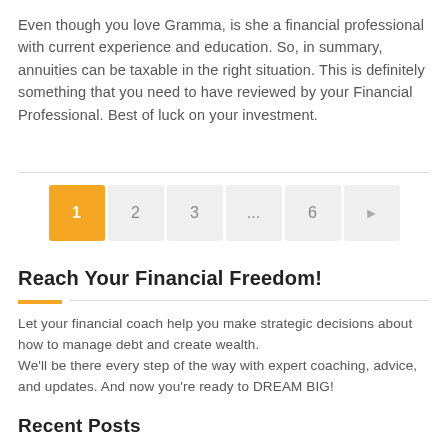Even though you love Gramma, is she a financial professional with current experience and education. So, in summary, annuities can be taxable in the right situation. This is definitely something that you need to have reviewed by your Financial Professional. Best of luck on your investment.
[Figure (other): Pagination control with buttons: 1 (active/orange), 2, 3, ..., 6, and a right-arrow next button]
Reach Your Financial Freedom!
Let your financial coach help you make strategic decisions about how to manage debt and create wealth.
We'll be there every step of the way with expert coaching, advice, and updates. And now you're ready to DREAM BIG!
Recent Posts